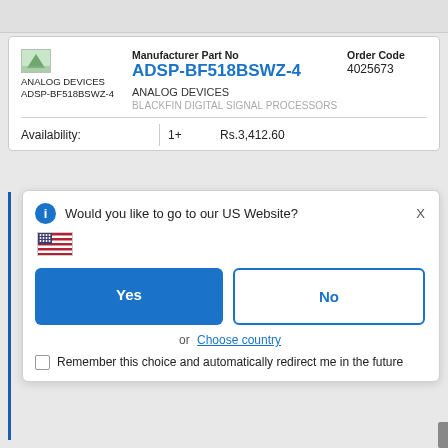[Figure (screenshot): Top gray bar from browser/website UI]
Manufacturer Part No
Order Code
ADSP-BF518BSWZ-4
4025673
ANALOG DEVICES ADSP-BF518BSWZ-4
ANALOG DEVICES
BLACKFIN DIGITAL SIGNAL PROCESSORS
Availability:
1+
Rs.3,412.60
Would you like to go to our US Website?
or
Choose country
Remember this choice and automatically redirect me in the future